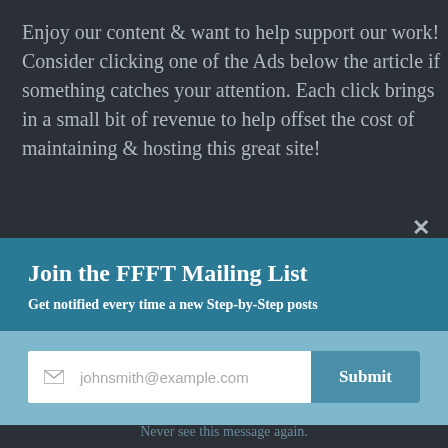Enjoy our content & want to help support our work! Consider clicking one of the Ads below the article if something catches your attention. Each click brings in a small bit of revenue to help offset the cost of maintaining & hosting this great site!
Join the FFFT Mailing List
Get notified every time a new Step-by-Step posts
Never see this message again.